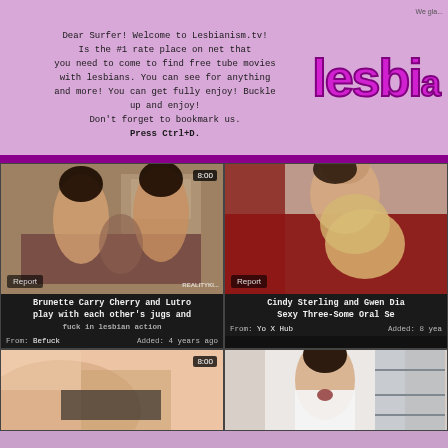Dear Surfer! Welcome to Lesbianism.tv! Is the #1 rate place on net that you need to come to find free tube movies with lesbians. You can see for anything and more! You can get fully enjoy! Buckle up and enjoy! Don't forget to bookmark us. Press Ctrl+D.
[Figure (screenshot): Video thumbnail: two brunette women and a man on a couch, 8:00 duration badge, Report badge, RealityKings watermark]
Brunette Carry Cherry and Lutro play with each other's jugs and fuck in lesbian action
From: Befuck   Added: 4 years ago
[Figure (screenshot): Video thumbnail: man kissing blonde woman on red couch, Report badge]
Cindy Sterling and Gwen Dia Sexy Three-Some Oral Se
From: Yo X Hub   Added: 8 yea
[Figure (screenshot): Partial video thumbnail bottom left: pink/skin tones close-up, 8:00 duration badge]
[Figure (screenshot): Partial video thumbnail bottom right: woman in white coat]